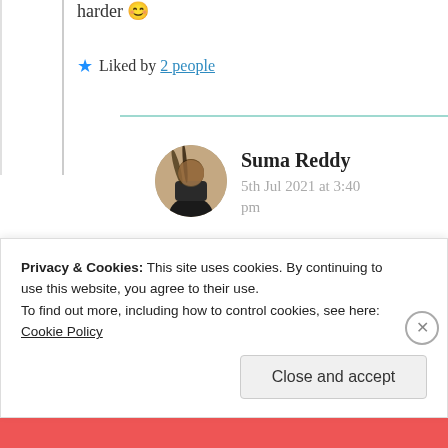harder 😊
★ Liked by 2 people
Suma Reddy
5th Jul 2021 at 3:40 pm
That really disappoints but a writer's aim sh/only
Privacy & Cookies: This site uses cookies. By continuing to use this website, you agree to their use.
To find out more, including how to control cookies, see here: Cookie Policy
Close and accept